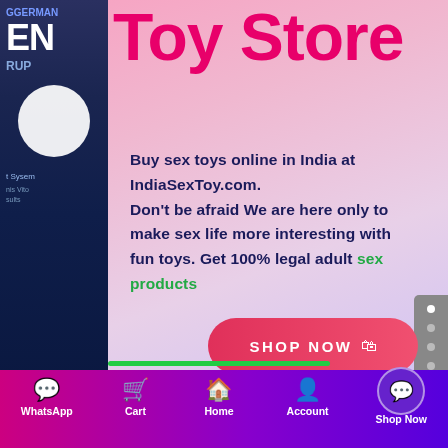Toy Store
Buy sex toys online in India at IndiaSexToy.com.
Don't be afraid We are here only to make sex life more interesting with fun toys. Get 100% legal adult sex products
[Figure (screenshot): Shop Now button with shopping bag icon, pink/red gradient rounded pill shape]
WhatsApp  Cart  Home  Account  Shop Now